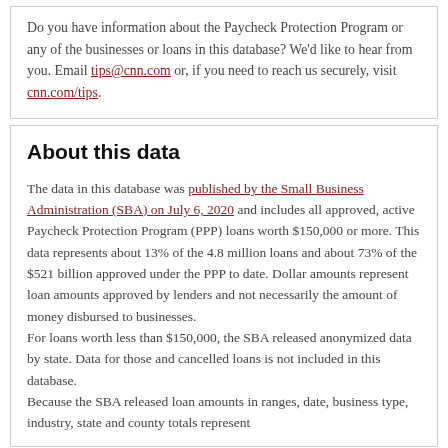Do you have information about the Paycheck Protection Program or any of the businesses or loans in this database? We'd like to hear from you. Email tips@cnn.com or, if you need to reach us securely, visit cnn.com/tips.
About this data
The data in this database was published by the Small Business Administration (SBA) on July 6, 2020 and includes all approved, active Paycheck Protection Program (PPP) loans worth $150,000 or more. This data represents about 13% of the 4.8 million loans and about 73% of the $521 billion approved under the PPP to date. Dollar amounts represent loan amounts approved by lenders and not necessarily the amount of money disbursed to businesses.
For loans worth less than $150,000, the SBA released anonymized data by state. Data for those and cancelled loans is not included in this database.
Because the SBA released loan amounts in ranges, date, business type, industry, state and county totals represent